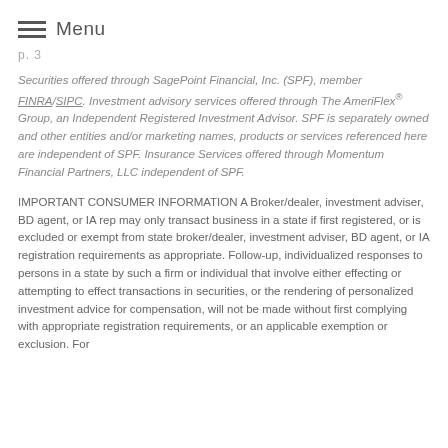Menu
p. 3
Securities offered through SagePoint Financial, Inc. (SPF), member FINRA/SIPC. Investment advisory services offered through The AmeriFlex® Group, an Independent Registered Investment Advisor. SPF is separately owned and other entities and/or marketing names, products or services referenced here are independent of SPF. Insurance Services offered through Momentum Financial Partners, LLC independent of SPF.
IMPORTANT CONSUMER INFORMATION A Broker/dealer, investment adviser, BD agent, or IA rep may only transact business in a state if first registered, or is excluded or exempt from state broker/dealer, investment adviser, BD agent, or IA registration requirements as appropriate. Follow-up, individualized responses to persons in a state by such a firm or individual that involve either effecting or attempting to effect transactions in securities, or the rendering of personalized investment advice for compensation, will not be made without first complying with appropriate registration requirements, or an applicable exemption or exclusion. For